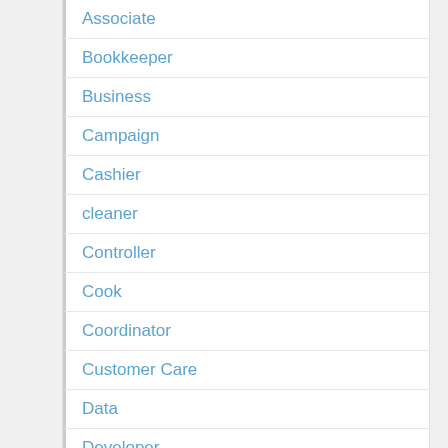Associate
Bookkeeper
Business
Campaign
Cashier
cleaner
Controller
Cook
Coordinator
Customer Care
Data
Developer
Driver
Engineering
Financial
Floater